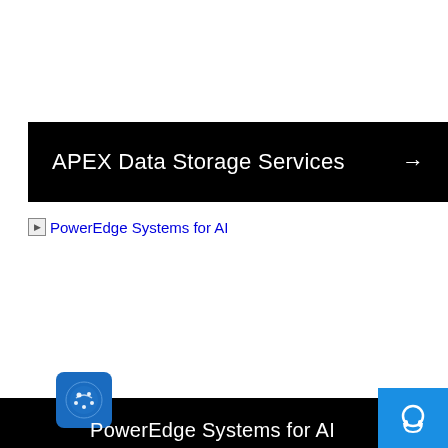APEX Data Storage Services →
[Figure (screenshot): Broken image link placeholder text 'PowerEdge Systems for AI' shown as a hyperlink in blue]
[Figure (logo): Cookie consent icon - blue circular logo with paw print]
PowerEdge Systems for AI
[Figure (other): Blue support/headphone button in bottom right corner]